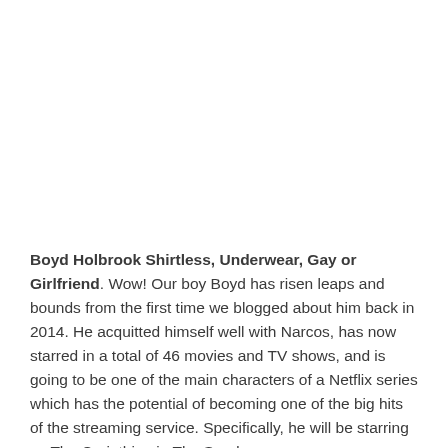Boyd Holbrook Shirtless, Underwear, Gay or Girlfriend. Wow! Our boy Boyd has risen leaps and bounds from the first time we blogged about him back in 2014. He acquitted himself well with Narcos, has now starred in a total of 46 movies and TV shows, and is going to be one of the main characters of a Netflix series which has the potential of becoming one of the big hits of the streaming service. Specifically, he will be starring as The Corinthian in The Sandman